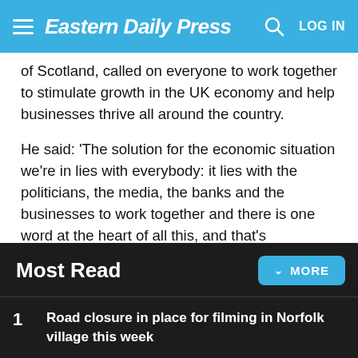Eastern Daily Press
of Scotland, called on everyone to work together to stimulate growth in the UK economy and help businesses thrive all around the country.
He said: 'The solution for the economic situation we're in lies with everybody: it lies with the politicians, the media, the banks and the businesses to work together and there is one word at the heart of all this, and that's confidence.
'We need confidence back in the high street and cheap finance is one way to build confidence.
Most Read
Road closure in place for filming in Norfolk village this week